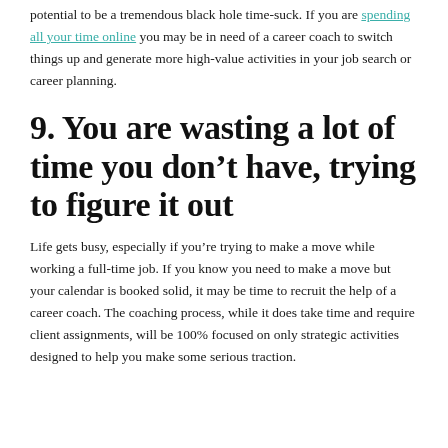potential to be a tremendous black hole time-suck. If you are spending all your time online you may be in need of a career coach to switch things up and generate more high-value activities in your job search or career planning.
9. You are wasting a lot of time you don't have, trying to figure it out
Life gets busy, especially if you're trying to make a move while working a full-time job. If you know you need to make a move but your calendar is booked solid, it may be time to recruit the help of a career coach. The coaching process, while it does take time and require client assignments, will be 100% focused on only strategic activities designed to help you make some serious traction.